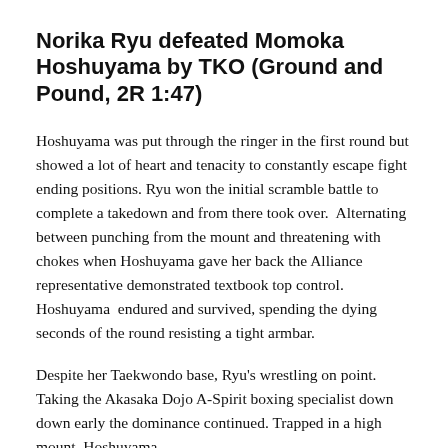Norika Ryu defeated Momoka Hoshuyama by TKO (Ground and Pound, 2R 1:47)
Hoshuyama was put through the ringer in the first round but showed a lot of heart and tenacity to constantly escape fight ending positions. Ryu won the initial scramble battle to complete a takedown and from there took over.  Alternating between punching from the mount and threatening with chokes when Hoshuyama gave her back the Alliance representative demonstrated textbook top control. Hoshuyama  endured and survived, spending the dying seconds of the round resisting a tight armbar.
Despite her Taekwondo base, Ryu's wrestling on point. Taking the Akasaka Dojo A-Spirit boxing specialist down down early the dominance continued. Trapped in a high mount, Hoshuyama